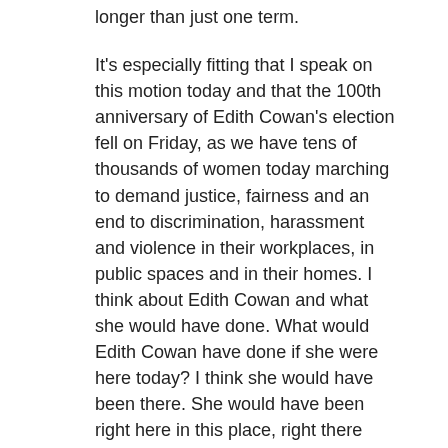longer than just one term.
It's especially fitting that I speak on this motion today and that the 100th anniversary of Edith Cowan's election fell on Friday, as we have tens of thousands of women today marching to demand justice, fairness and an end to discrimination, harassment and violence in their workplaces, in public spaces and in their homes. I think about Edith Cowan and what she would have done. What would Edith Cowan have done if she were here today? I think she would have been there. She would have been right here in this place, right there raising her voice in a collective shout, demanding to be heard.
It's also fitting that Edith Cowan's 100th anniversary of being elected came at the end of the week of International Women's Day, where the theme was 'Choose to Challenge'. We no longer have the luxury of choice, if ever indeed we had the luxury of choosing to challenge. Today we are compelled to challenge, as Edith was. We are compelled to speak out, as Edith was. We don't get to choose anymore. It is no longer a choice. We cannot stay